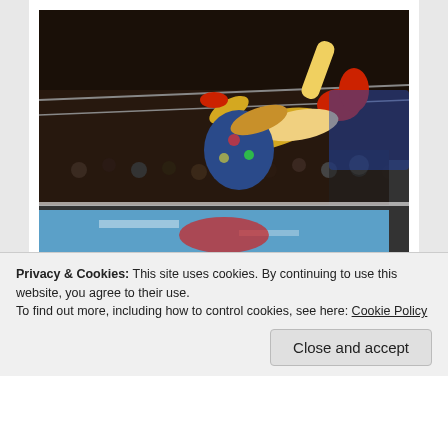[Figure (photo): Two professional wrestlers in a Japanese wrestling ring (NJPW). One wrestler wearing gold pants and red boots is being slammed or thrown by another wrestler in a colorful outfit. The crowd is visible in the background.]
It never gets old. Credit: NJPW
It's that time of the year when CMLL grab a bunch of their guys, flute Japan and have a party. Love it or...
Privacy & Cookies: This site uses cookies. By continuing to use this website, you agree to their use. To find out more, including how to control cookies, see here: Cookie Policy
Close and accept